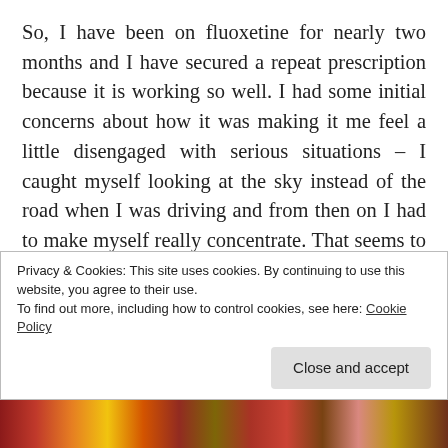So, I have been on fluoxetine for nearly two months and I have secured a repeat prescription because it is working so well. I had some initial concerns about how it was making it me feel a little disengaged with serious situations – I caught myself looking at the sky instead of the road when I was driving and from then on I had to make myself really concentrate. That seems to have sorted itself out now; I'm not easily distracted or careless. I am also finding it a little hard to sleep at the moment, but that could be because I am worried about the political and economic situation in the UK, but most
Privacy & Cookies: This site uses cookies. By continuing to use this website, you agree to their use.
To find out more, including how to control cookies, see here: Cookie Policy
Close and accept
[Figure (photo): A strip of colorful book cover images at the bottom of the page]